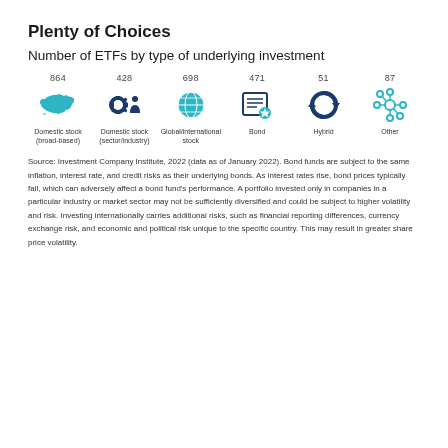Plenty of Choices
Number of ETFs by type of underlying investment
[Figure (infographic): Six icons representing ETF categories, each with a count above and label below. Domestic stock (broad-based): 864, Domestic stock (sector/industry): 428, Global/international stock: 698, Bond: 471, Hybrid: 51, Other: 87]
Source: Investment Company Institute, 2022 (data as of January 2022). Bond funds are subject to the same inflation, interest rate, and credit risks as their underlying bonds. As interest rates rise, bond prices typically fall, which can adversely affect a bond fund's performance. A portfolio invested only in companies in a particular industry or market sector may not be sufficiently diversified and could be subject to higher volatility and risk. Investing internationally carries additional risks, such as financial reporting differences, currency exchange risk, and economic and political risk unique to the specific country. This may result in greater share price volatility.